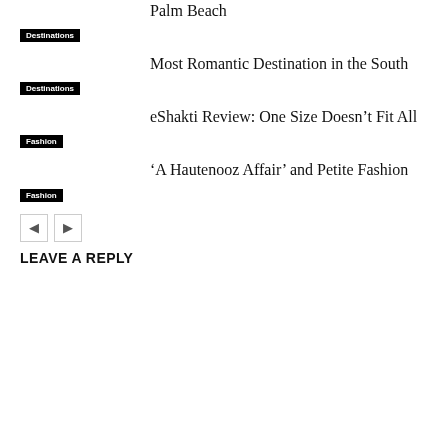Palm Beach
Destinations
Most Romantic Destination in the South
Destinations
eShakti Review: One Size Doesn’t Fit All
Fashion
‘A Hautenooz Affair’ and Petite Fashion
Fashion
◄ ► navigation buttons
LEAVE A REPLY